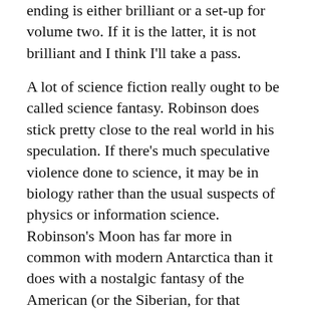ending is either brilliant or a set-up for volume two. If it is the latter, it is not brilliant and I think I'll take a pass.
A lot of science fiction really ought to be called science fantasy. Robinson does stick pretty close to the real world in his speculation. If there's much speculative violence done to science, it may be in biology rather than the usual suspects of physics or information science. Robinson's Moon has far more in common with modern Antarctica than it does with a nostalgic fantasy of the American (or the Siberian, for that matter) frontier: a dangerous, expensive place mostly only good for research or for novelty. And if Robinson's Mars trilogy had mountain climbing as a visceral experience, Red Moon has the simple difficulty humans will have learning to maneuver in the Moon's low gravity.